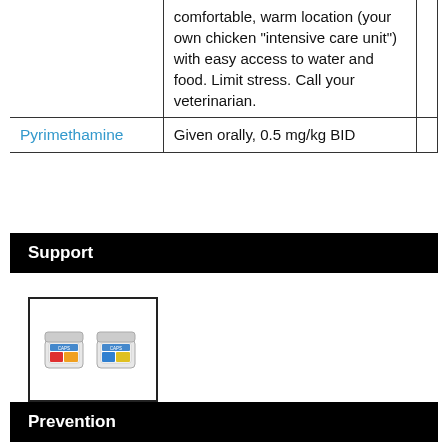|  | comfortable, warm location (your own chicken "intensive care unit") with easy access to water and food. Limit stress. Call your veterinarian. |
| Pyrimethamine | Given orally, 0.5 mg/kg BID |
Support
[Figure (photo): Two small product containers (medication/supplement jars) shown side by side inside a black-bordered box]
Prevention